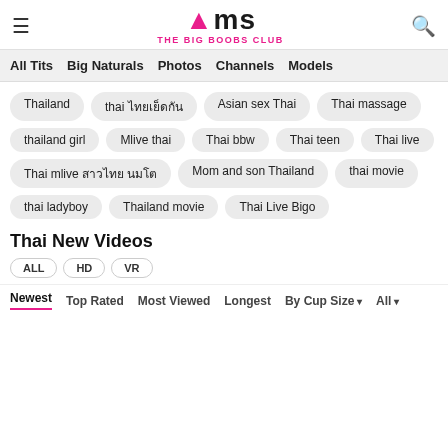XMS THE BIG BOOBS CLUB
All Tits | Big Naturals | Photos | Channels | Models
Thailand
thai ไทยเย็ดกัน
Asian sex Thai
Thai massage
thailand girl
Mlive thai
Thai bbw
Thai teen
Thai live
Thai mlive สาวไทย นมโต
Mom and son Thailand
thai movie
thai ladyboy
Thailand movie
Thai Live Bigo
Thai New Videos
ALL  HD  VR
Newest | Top Rated | Most Viewed | Longest | By Cup Size | All